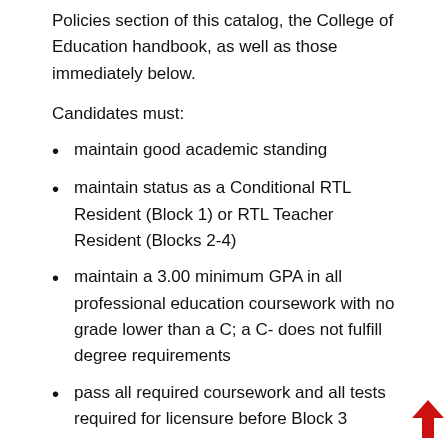Policies section of this catalog, the College of Education handbook, as well as those immediately below.
Candidates must:
maintain good academic standing
maintain status as a Conditional RTL Resident (Block 1) or RTL Teacher Resident (Blocks 2-4)
maintain a 3.00 minimum GPA in all professional education coursework with no grade lower than a C; a C- does not fulfill degree requirements
pass all required coursework and all tests required for licensure before Block 3